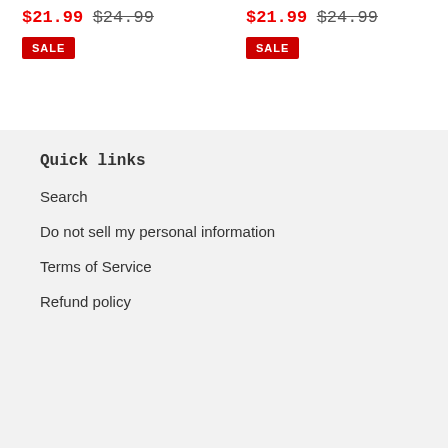$21.99 $24.99 (left column, sale price and original price)
SALE (left badge)
$21.99 $24.99 (right column, sale price and original price)
SALE (right badge)
Quick links
Search
Do not sell my personal information
Terms of Service
Refund policy